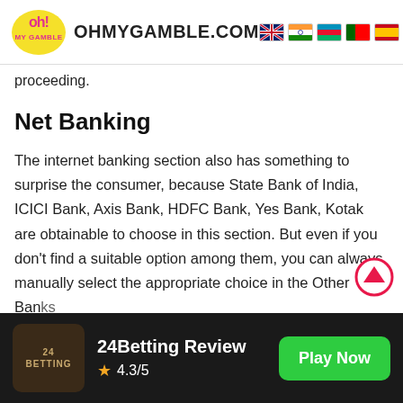OHMYGAMBLE.COM
proceeding.
Net Banking
The internet banking section also has something to surprise the consumer, because State Bank of India, ICICI Bank, Axis Bank, HDFC Bank, Yes Bank, Kotak are obtainable to choose in this section. But even if you don't find a suitable option among them, you can always manually select the appropriate choice in the Other Banks section.
24Betting Review 4.3/5 Play Now